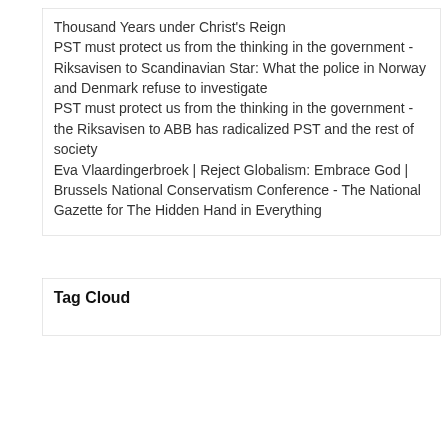Thousand Years under Christ's Reign
PST must protect us from the thinking in the government - Riksavisen to Scandinavian Star: What the police in Norway and Denmark refuse to investigate
PST must protect us from the thinking in the government - the Riksavisen to ABB has radicalized PST and the rest of society
Eva Vlaardingerbroek | Reject Globalism: Embrace God | Brussels National Conservatism Conference - The National Gazette for The Hidden Hand in Everything
Tag Cloud